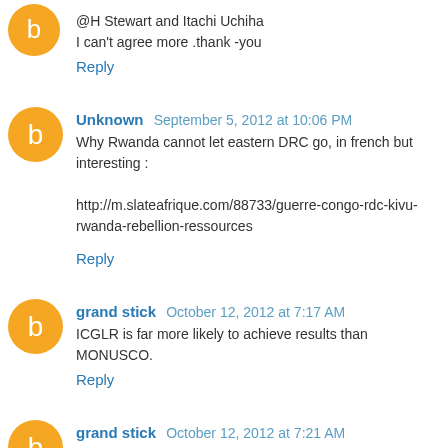@H Stewart and Itachi Uchiha
I can't agree more .thank -you
Reply
Unknown  September 5, 2012 at 10:06 PM
Why Rwanda cannot let eastern DRC go, in french but interesting :

http://m.slateafrique.com/88733/guerre-congo-rdc-kivu-rwanda-rebellion-ressources
Reply
grand stick  October 12, 2012 at 7:17 AM
ICGLR is far more likely to achieve results than MONUSCO.
Reply
grand stick  October 12, 2012 at 7:21 AM